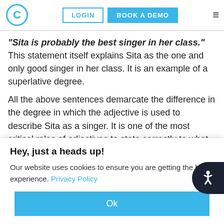C LOGIN BOOK A DEMO ≡
“Sita is probably the best singer in her class.” This statement itself explains Sita as the one and only good singer in her class. It is an example of a superlative degree.
All the above sentences demarcate the difference in the degree in which the adjective is used to describe Sita as a singer. It is one of the most critical roles of adjectives to state correctly to what
Hey, just a heads up!
Our website uses cookies to ensure you are getting the best experience. Privacy Policy
Ok